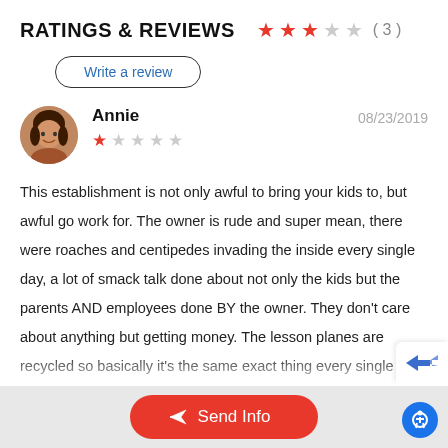RATINGS & REVIEWS
[Figure (other): Star rating display showing 3 out of 5 stars (3 filled red, 2 grey) with count (3)]
Write a review
[Figure (photo): Circular avatar photo of reviewer Annie]
Annie
08/23/2019
[Figure (other): Star rating showing 1 out of 5 stars (1 filled red, 4 grey)]
This establishment is not only awful to bring your kids to, but awful go work for. The owner is rude and super mean, there were roaches and centipedes invading the inside every single day, a lot of smack talk done about not only the kids but the parents AND employees done BY the owner. They don't care about anything but getting money. The lesson planes are recycled so basically it's the same exact thing every single day. No room to grow and no room for creativity. Highly recommend creative world or basically any other place but here that recomme
Send Info